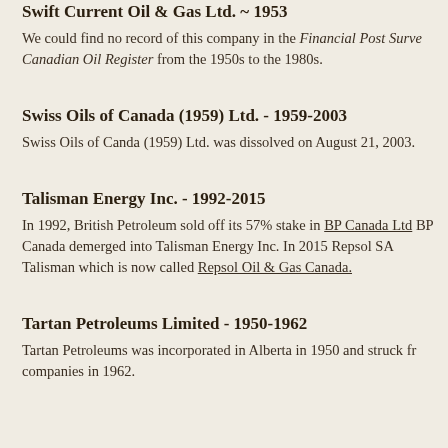Swift Current Oil & Gas Ltd. ~ 1953
We could find no record of this company in the Financial Post Survey or the Canadian Oil Register from the 1950s to the 1980s.
Swiss Oils of Canada (1959) Ltd. - 1959-2003
Swiss Oils of Canda (1959) Ltd. was dissolved on August 21, 2003.
Talisman Energy Inc. - 1992-2015
In 1992, British Petroleum sold off its 57% stake in BP Canada Ltd and BP Canada demerged into Talisman Energy Inc. In 2015 Repsol SA acquired Talisman which is now called Repsol Oil & Gas Canada.
Tartan Petroleums Limited - 1950-1962
Tartan Petroleums was incorporated in Alberta in 1950 and struck fr companies in 1962.